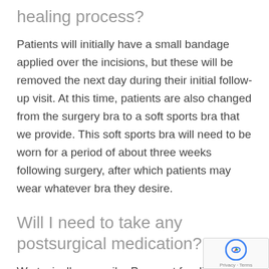healing process?
Patients will initially have a small bandage applied over the incisions, but these will be removed the next day during their initial follow-up visit. At this time, patients are also changed from the surgery bra to a soft sports bra that we provide. This soft sports bra will need to be worn for a period of about three weeks following surgery, after which patients may wear whatever bra they desire.
Will I need to take any postsurgical medication?
We typically prescribe Percocet for discomfort, Valium for muscle relaxation, antibiotics, and nausea medicine should patients experience any of the